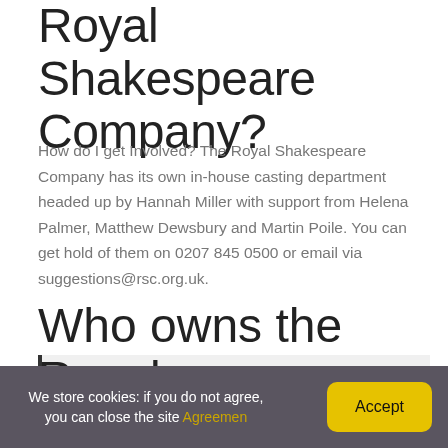Royal Shakespeare Company?
How do I get Involved? The Royal Shakespeare Company has its own in-house casting department headed up by Hannah Miller with support from Helena Palmer, Matthew Dewsbury and Martin Poile. You can get hold of them on 0207 845 0500 or email via suggestions@rsc.org.uk.
You might be interested:  Quick Answer: How Long Is Dirty Dancing At The Theatre?
Who owns the Royal
We store cookies: if you do not agree, you can close the site Agreemen  Accept